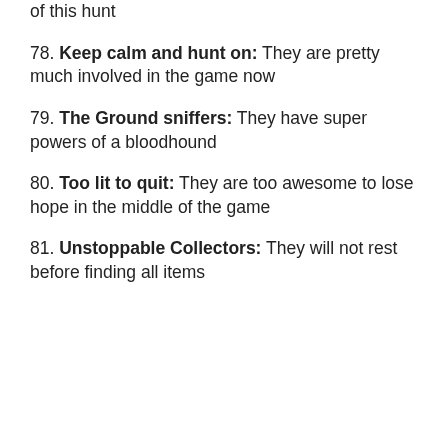of this hunt
78. Keep calm and hunt on: They are pretty much involved in the game now
79. The Ground sniffers: They have super powers of a bloodhound
80. Too lit to quit: They are too awesome to lose hope in the middle of the game
81. Unstoppable Collectors: They will not rest before finding all items